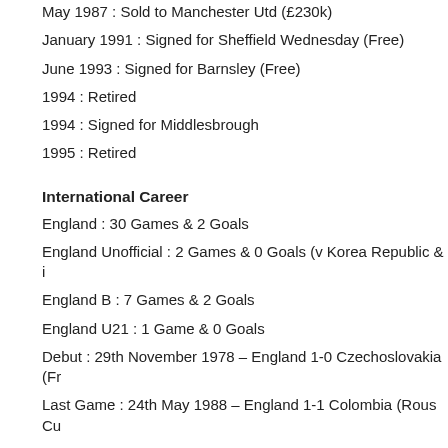May 1987 : Sold to Manchester Utd (£230k)
January 1991 : Signed for Sheffield Wednesday (Free)
June 1993 : Signed for Barnsley (Free)
1994 : Retired
1994 : Signed for Middlesbrough
1995 : Retired
International Career
England : 30 Games & 2 Goals
England Unofficial : 2 Games & 0 Goals (v Korea Republic & i
England B : 7 Games & 2 Goals
England U21 : 1 Game & 0 Goals
Debut : 29th November 1978 – England 1-0 Czechoslovakia (Fr
Last Game : 24th May 1988 – England 1-1 Colombia (Rous Cu
Managerial, Coaching & Scouting C
June 1993 : Hired as Barnsley Player/Manager
June 1994 : Left as Barnsley Player/Manager
June 1994 : Hired as Middlesbrough Assistant Manager